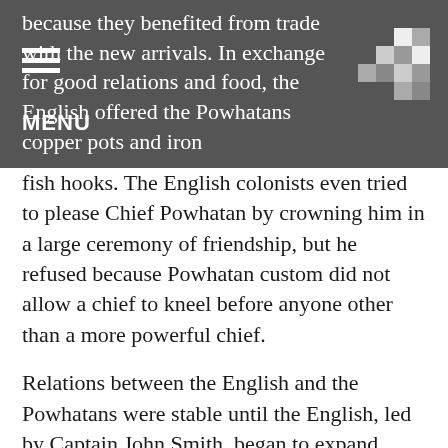because they benefited from trade with the new arrivals. In exchange for good relations and food, the English offered the Powhatans copper pots and iron fish hooks. The English colonists even tried to please Chief Powhatan by crowning him in a large ceremony of friendship, but he refused because Powhatan custom did not allow a chief to kneel before anyone other than a more powerful chief.
fish hooks. The English colonists even tried to please Chief Powhatan by crowning him in a large ceremony of friendship, but he refused because Powhatan custom did not allow a chief to kneel before anyone other than a more powerful chief.
Relations between the English and the Powhatans were stable until the English, led by Captain John Smith, began to expand outside their fort at Jamestown. The English did this in an effort to remove their dependence on the Powhatans. Between 1609 and 1614 war between the English and the Powhatan Nation raged. But the English had failed to produce enough provisions for themselves; one Englishman was even executed for killing and